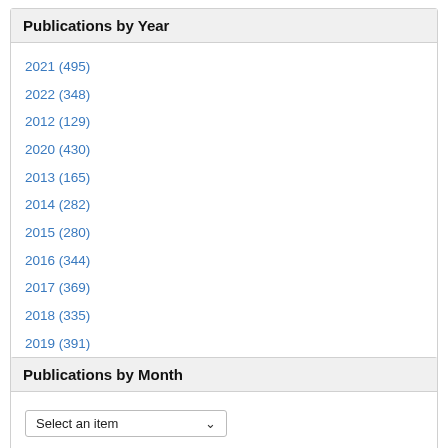Publications by Year
2021 (495)
2022 (348)
2012 (129)
2020 (430)
2013 (165)
2014 (282)
2015 (280)
2016 (344)
2017 (369)
2018 (335)
2019 (391)
Publications by Month
Select an item